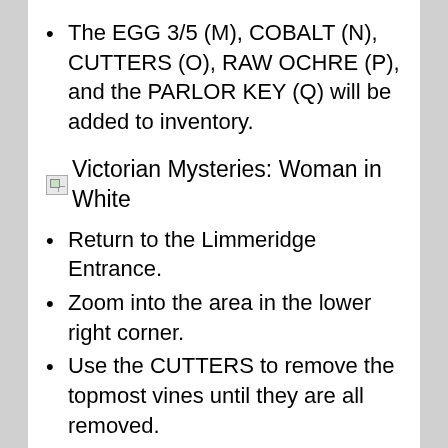The EGG 3/5 (M), COBALT (N), CUTTERS (O), RAW OCHRE (P), and the PARLOR KEY (Q) will be added to inventory.
Victorian Mysteries: Woman in White
Return to the Limmeridge Entrance.
Zoom into the area in the lower right corner.
Use the CUTTERS to remove the topmost vines until they are all removed.
Please look at the screenshot for the solution (R).
Take the SEEDS (S) in the center of the...